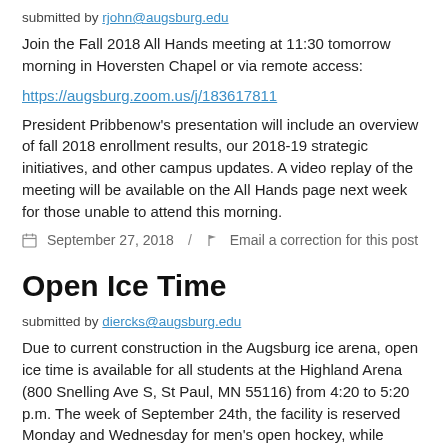submitted by rjohn@augsburg.edu
Join the Fall 2018 All Hands meeting at 11:30 tomorrow morning in Hoversten Chapel or via remote access:
https://augsburg.zoom.us/j/183617811
President Pribbenow's presentation will include an overview of fall 2018 enrollment results, our 2018-19 strategic initiatives, and other campus updates. A video replay of the meeting will be available on the All Hands page next week for those unable to attend this morning.
September 27, 2018 / Email a correction for this post
Open Ice Time
submitted by diercks@augsburg.edu
Due to current construction in the Augsburg ice arena, open ice time is available for all students at the Highland Arena (800 Snelling Ave S, St Paul, MN 55116) from 4:20 to 5:20 p.m. The week of September 24th, the facility is reserved Monday and Wednesday for men's open hockey, while Tuesday and Thursday